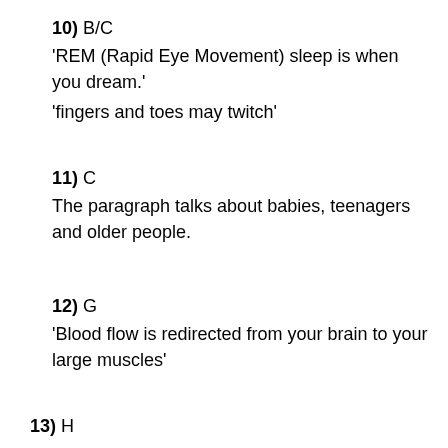10) B/C
'REM (Rapid Eye Movement) sleep is when you dream.'
'fingers and toes may twitch'
11) C
The paragraph talks about babies, teenagers and older people.
12) G
'Blood flow is redirected from your brain to your large muscles'
13) H